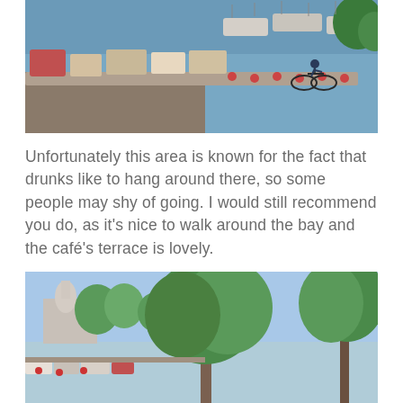[Figure (photo): Aerial or elevated view of a marina with many boats docked along a pier, blue water, a cyclist on a path beside the dock, and trees in the upper right corner.]
Unfortunately this area is known for the fact that drunks like to hang around there, so some people may shy of going. I would still recommend you do, as it's nice to walk around the bay and the café's terrace is lovely.
[Figure (photo): Photo of a waterfront bay with boats moored along the shore, a large green tree in the foreground, a church or cathedral dome visible in the left background, under a blue sky.]